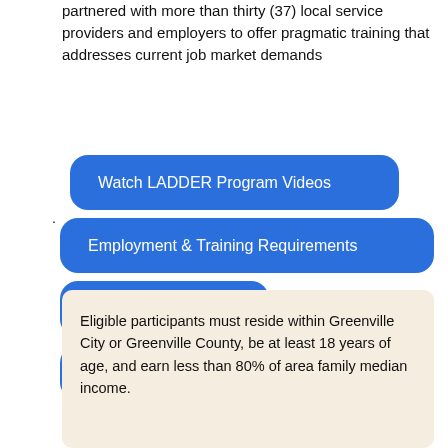partnered with more than thirty (37) local service providers and employers to offer pragmatic training that addresses current job market demands
Watch LADDER Program Videos
Employment & Training Requirements
Course Descriptions
Successful Interview Tips
Eligible participants must reside within Greenville City or Greenville County, be at least 18 years of age, and earn less than 80% of area family median income.